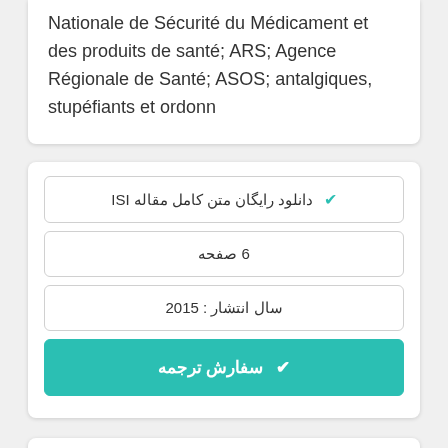Nationale de Sécurité du Médicament et des produits de santé; ARS; Agence Régionale de Santé; ASOS; antalgiques, stupéfiants et ordonn
✔ دانلود رایگان متن کامل مقاله ISI
6 صفحه
سال انتشار : 2015
✔ سفارش ترجمه
Méthadone gélule : résultats de 5 années d'utilisation en France